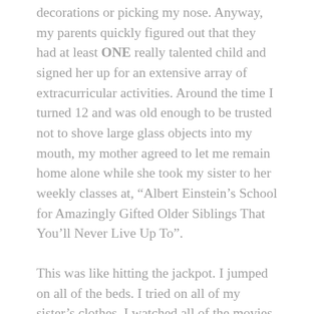decorations or picking my nose. Anyway, my parents quickly figured out that they had at least ONE really talented child and signed her up for an extensive array of extracurricular activities. Around the time I turned 12 and was old enough to be trusted not to shove large glass objects into my mouth, my mother agreed to let me remain home alone while she took my sister to her weekly classes at, “Albert Einstein’s School for Amazingly Gifted Older Siblings That You’ll Never Live Up To”.
This was like hitting the jackpot. I jumped on all of the beds. I tried on all of my sister’s clothes. I watched all of the movies that my parents had told me were too mature for my age. And one time, I had like 11 Oreo Cookies for dinner. As it turns out, cookies do crumble. So when my mother returned home later that evening...